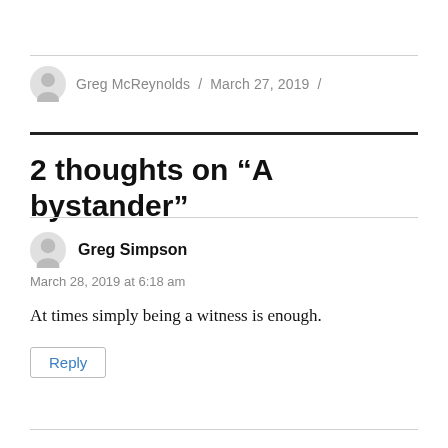Greg McReynolds / March 27, 2019 /
2 thoughts on “A bystander”
Greg Simpson
March 28, 2019 at 6:18 am
At times simply being a witness is enough.
Reply